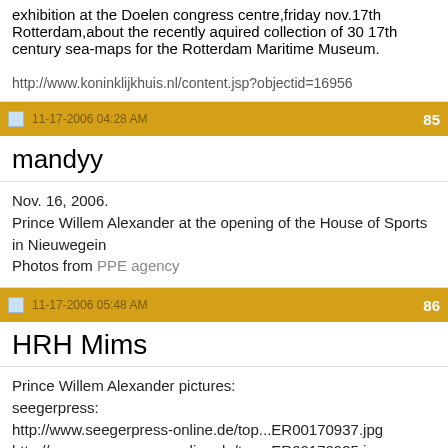exhibition at the Doelen congress centre,friday nov.17th Rotterdam,about the recently aquired collection of 30 17th century sea-maps for the Rotterdam Maritime Museum.

http://www.koninklijkhuis.nl/content.jsp?objectid=16956
11-17-2006 04:28 AM   85
mandyy
Nov. 16, 2006.
Prince Willem Alexander at the opening of the House of Sports in Nieuwegein
Photos from PPE agency
11-17-2006 05:48 AM   86
HRH Mims
Prince Willem Alexander pictures:
seegerpress:
http://www.seegerpress-online.de/top...ER00170937.jpg
http://www.seegerpress-online.de/top...ER00170935.jpg
http://www.seegerpress-online.de/top...ER00170932.jpg
http://www.seegerpress-online.de/top...ER00170936.jpg